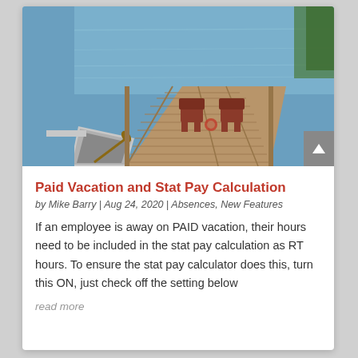[Figure (photo): A wooden dock on a calm lake with two Adirondack chairs and a canoe tied alongside]
Paid Vacation and Stat Pay Calculation
by Mike Barry | Aug 24, 2020 | Absences, New Features
If an employee is away on PAID vacation, their hours need to be included in the stat pay calculation as RT hours. To ensure the stat pay calculator does this, turn this ON, just check off the setting below
read more